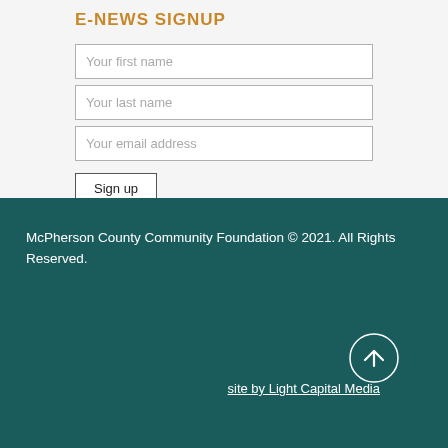E-NEWS SIGNUP
Your first name
Your last name
Your email address
Sign up
McPherson County Community Foundation © 2021. All Rights Reserved.
site by Light Capital Media